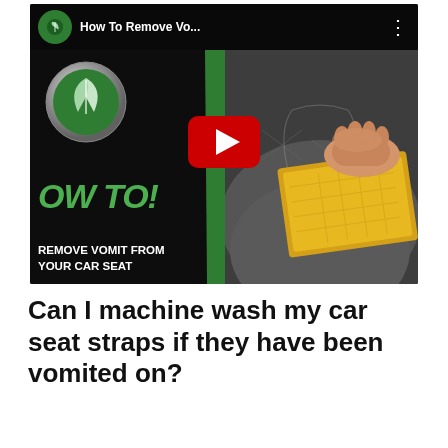[Figure (screenshot): YouTube video thumbnail showing 'How To Remove Vo...' with a green feather brand logo in a circle at top left, channel name, three-dot menu icon. The thumbnail shows a split image: left side dark background with large brand logo and green italic 'OW TO!' text and white bold text 'OVE VOMIT FROM R CAR SEAT'. Right side shows a hand wiping a gray car seat with a yellow cloth. A red YouTube play button is centered on the thumbnail.]
Can I machine wash my car seat straps if they have been vomited on?